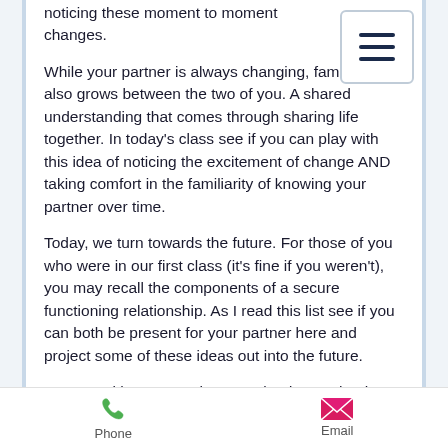noticing these moment to moment changes.
While your partner is always changing, familiarity also grows between the two of you.  A shared understanding that comes through sharing life together.  In today's class see if you can play with this idea of noticing the excitement of change AND taking comfort in the familiarity of knowing your partner over time.
Today, we turn towards the future.  For those of you who were in our first class (it's fine if you weren't), you may recall the components of a secure functioning relationship.  As I read this list see if you can both be present for your partner here and project some of these ideas out into the future.
You can either repeat these out loud to each other or you can hold each other's gaze and breathe and relax.
Phone  Email